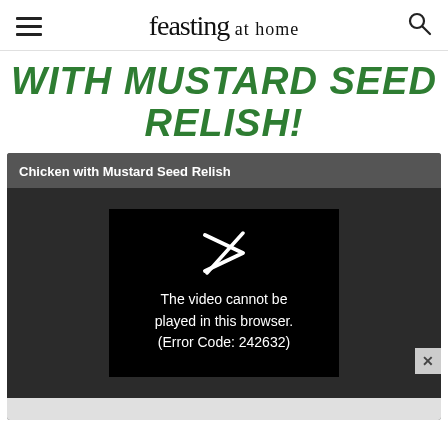feasting at home
WITH MUSTARD SEED RELISH!
[Figure (screenshot): Embedded video player showing 'Chicken with Mustard Seed Relish' with an error message: 'The video cannot be played in this browser. (Error Code: 242632)']